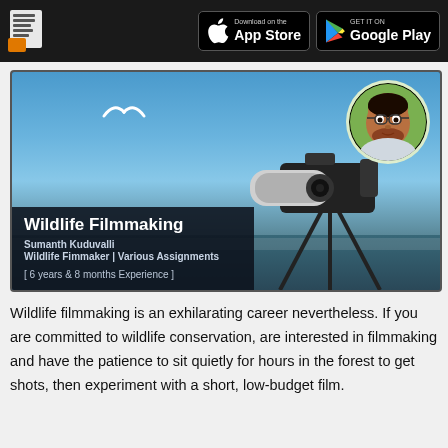App Store / Google Play download header
[Figure (photo): Course card with a camera on tripod by the sea, seagull in blue sky, instructor profile photo circle top-right. Overlay shows course title Wildlife Filmmaking, instructor name Sumanth Kuduvalli, role Wildlife Fimmaker | Various Assignments, 6 years & 8 months Experience]
Wildlife Filmmaking
Sumanth Kuduvalli
Wildlife Fimmaker | Various Assignments
[ 6 years & 8 months Experience ]
Wildlife filmmaking is an exhilarating career nevertheless. If you are committed to wildlife conservation, are interested in filmmaking and have the patience to sit quietly for hours in the forest to get shots, then experiment with a short, low-budget film.